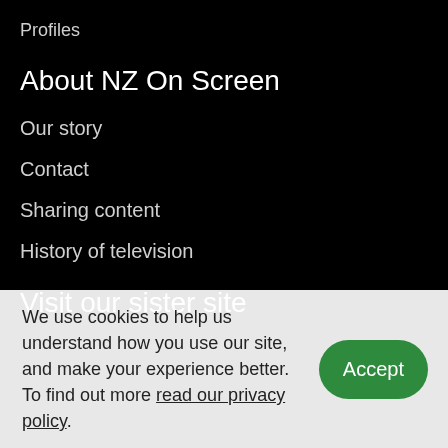Profiles
About NZ On Screen
Our story
Contact
Sharing content
History of television
Visit our sister site
We use cookies to help us understand how you use our site, and make your experience better. To find out more read our privacy policy.